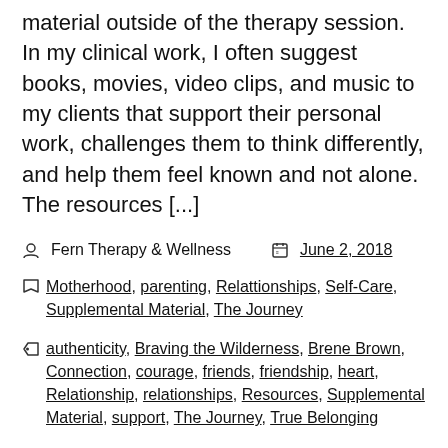material outside of the therapy session. In my clinical work, I often suggest books, movies, video clips, and music to my clients that support their personal work, challenges them to think differently, and help them feel known and not alone. The resources [...]
Fern Therapy & Wellness   June 2, 2018
Motherhood, parenting, Relattionships, Self-Care, Supplemental Material, The Journey
authenticity, Braving the Wilderness, Brene Brown, Connection, courage, friends, friendship, heart, Relationship, relationships, Resources, Supplemental Material, support, The Journey, True Belonging